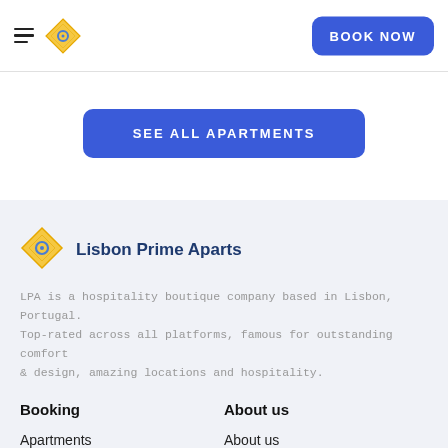☰ [logo] BOOK NOW
SEE ALL APARTMENTS
[Figure (logo): Lisbon Prime Aparts diamond logo mark in gold/yellow tones]
Lisbon Prime Aparts
LPA is a hospitality boutique company based in Lisbon, Portugal. Top-rated across all platforms, famous for outstanding comfort & design, amazing locations and hospitality.
Booking
About us
Apartments
About us